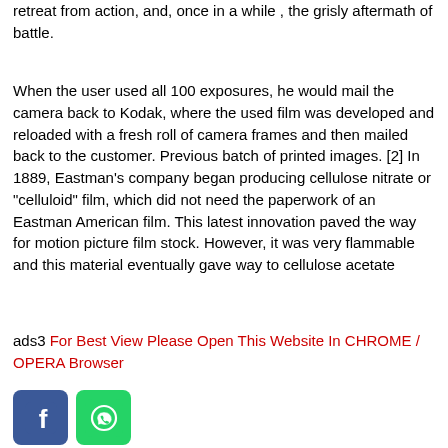retreat from action, and, once in a while , the grisly aftermath of battle.
When the user used all 100 exposures, he would mail the camera back to Kodak, where the used film was developed and reloaded with a fresh roll of camera frames and then mailed back to the customer. Previous batch of printed images. [2] In 1889, Eastman's company began producing cellulose nitrate or "celluloid" film, which did not need the paperwork of an Eastman American film. This latest innovation paved the way for motion picture film stock. However, it was very flammable and this material eventually gave way to cellulose acetate
ads3 For Best View Please Open This Website In CHROME / OPERA Browser
[Figure (illustration): Facebook and WhatsApp social media share icons]